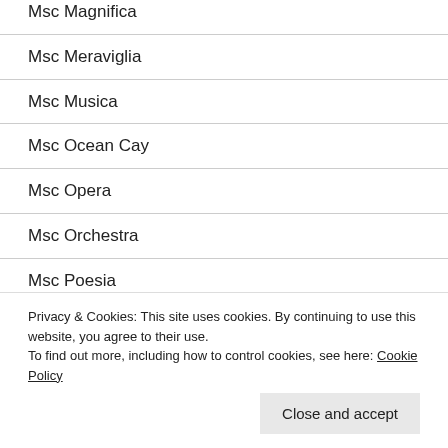Msc Magnifica
Msc Meraviglia
Msc Musica
Msc Ocean Cay
Msc Opera
Msc Orchestra
Msc Poesia
Msc Preziosa
Privacy & Cookies: This site uses cookies. By continuing to use this website, you agree to their use.
To find out more, including how to control cookies, see here: Cookie Policy